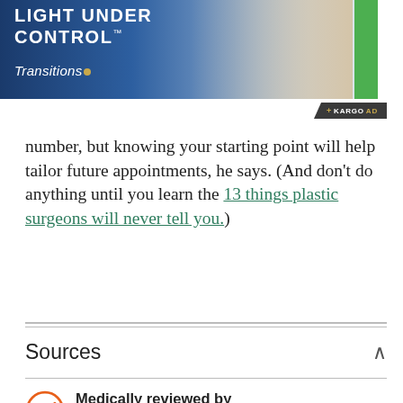[Figure (photo): Advertisement banner for Transitions lenses showing a blonde woman wearing sunglasses with text 'LIGHT UNDER CONTROL' and 'Transitions' branding on a blue gradient background]
number, but knowing your starting point will help tailor future appointments, he says. (And don't do anything until you learn the 13 things plastic surgeons will never tell you.)
Sources
Medically reviewed by Jessica Wu, MD, on February 27, 2020